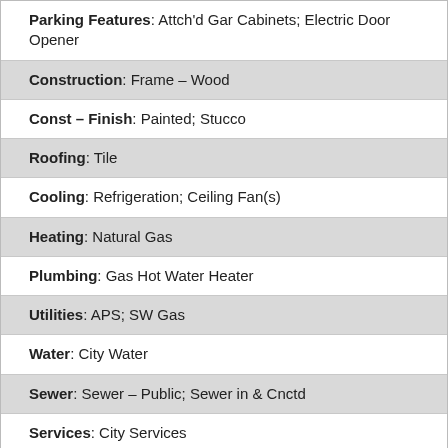Parking Features: Attch'd Gar Cabinets; Electric Door Opener
Construction: Frame – Wood
Const – Finish: Painted; Stucco
Roofing: Tile
Cooling: Refrigeration; Ceiling Fan(s)
Heating: Natural Gas
Plumbing: Gas Hot Water Heater
Utilities: APS; SW Gas
Water: City Water
Sewer: Sewer – Public; Sewer in & Cnctd
Services: City Services
Fencing: Wrought Iron; Block